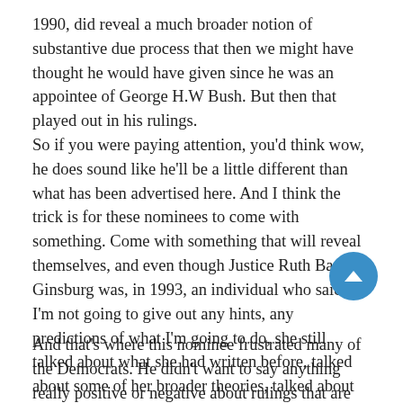1990, did reveal a much broader notion of substantive due process that then we might have thought he would have given since he was an appointee of George H.W Bush. But then that played out in his rulings.
So if you were paying attention, you'd think wow, he does sound like he'll be a little different than what has been advertised here. And I think the trick is for these nominees to come with something. Come with something that will reveal themselves, and even though Justice Ruth Bader Ginsburg was, in 1993, an individual who said, I'm not going to give out any hints, any predictions of what I'm going to do, she still talked about what she had written before, talked about some of her broader theories, talked about other cases.
And that's where this nominee frustrated many of the Democrats. He didn't want to say anything really positive or negative about rulings that are decades, decades old,